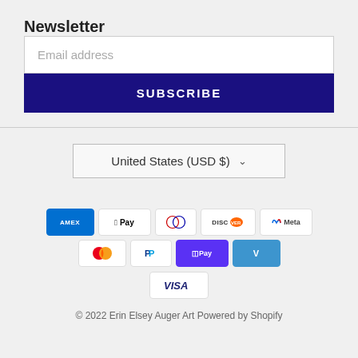Newsletter
Email address
SUBSCRIBE
United States (USD $)
[Figure (other): Row of payment method icons: American Express, Apple Pay, Diners Club, Discover, Meta Pay, Mastercard, PayPal, Shop Pay, Venmo, Visa]
© 2022 Erin Elsey Auger Art Powered by Shopify